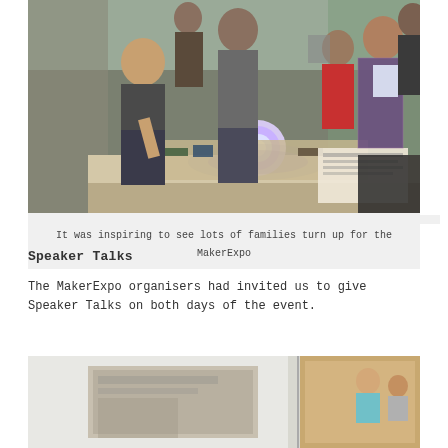[Figure (photo): Photo of families gathered around a table at MakerExpo, viewing a glowing illuminated display with electronic components. A young person operates the display while adults and children look on.]
It was inspiring to see lots of families turn up for the MakerExpo
Speaker Talks
The MakerExpo organisers had invited us to give Speaker Talks on both days of the event.
[Figure (photo): Partial photo visible at bottom of page showing a speaker presentation or display at MakerExpo, with a screen and what appears to be a cardboard backdrop.]